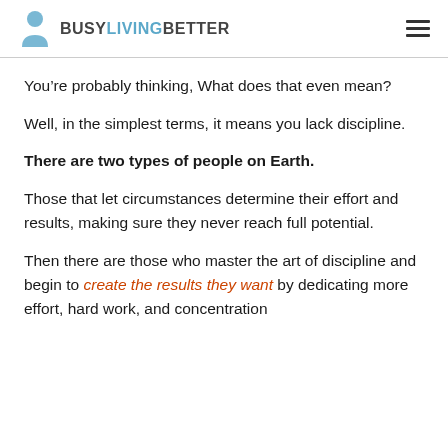BUSY LIVING BETTER
You’re probably thinking, What does that even mean?
Well, in the simplest terms, it means you lack discipline.
There are two types of people on Earth.
Those that let circumstances determine their effort and results, making sure they never reach full potential.
Then there are those who master the art of discipline and begin to create the results they want by dedicating more effort, hard work, and concentration